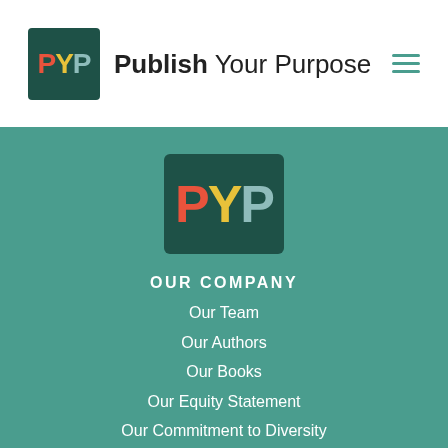[Figure (logo): Publish Your Purpose logo in header with PYP colored letters on dark green square background]
Publish Your Purpose
[Figure (logo): PYP logo centered on teal background section]
OUR COMPANY
Our Team
Our Authors
Our Books
Our Equity Statement
Our Commitment to Diversity